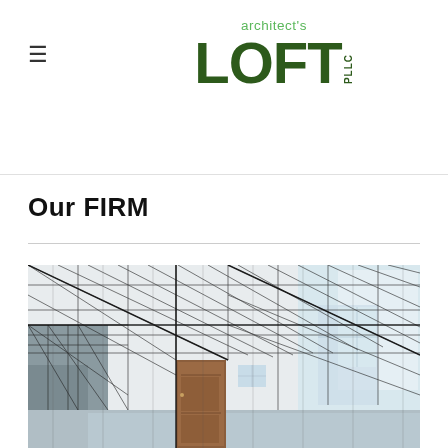architect's LOFT PLLC
Our FIRM
[Figure (illustration): Architectural wireframe/rendering illustration showing the interior structure of a building with transparent walls revealing structural grid lines, a wooden door, windows, and concrete floors — a hybrid of photorealistic rendering and technical line drawing.]